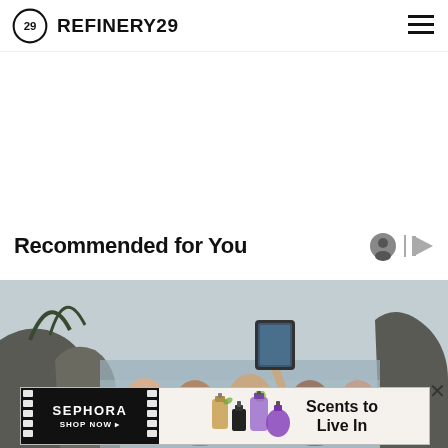REFINERY29
Recommended for You
[Figure (photo): Group of people taking a selfie outdoors near rocky cliffs and water, misty/foggy scenery]
[Figure (infographic): Sephora advertisement banner: left side black background with SEPHORA SHOP NOW text and film-strip style stripes, right side showing perfume bottles with text 'Scents to Live In']